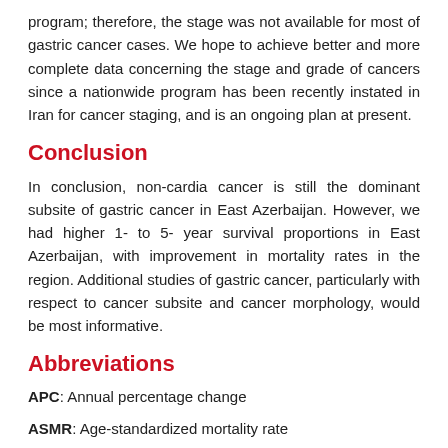program; therefore, the stage was not available for most of gastric cancer cases. We hope to achieve better and more complete data concerning the stage and grade of cancers since a nationwide program has been recently instated in Iran for cancer staging, and is an ongoing plan at present.
Conclusion
In conclusion, non-cardia cancer is still the dominant subsite of gastric cancer in East Azerbaijan. However, we had higher 1- to 5- year survival proportions in East Azerbaijan, with improvement in mortality rates in the region. Additional studies of gastric cancer, particularly with respect to cancer subsite and cancer morphology, would be most informative.
Abbreviations
APC: Annual percentage change
ASMR: Age-standardized mortality rate